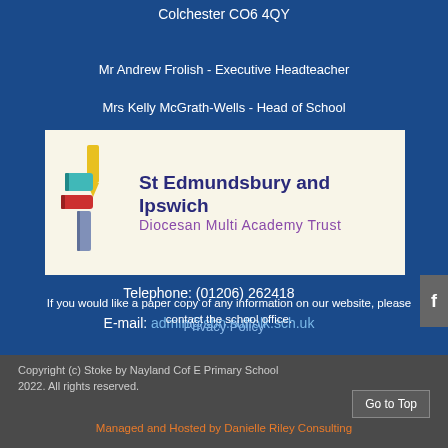Colchester CO6 4QY
Mr Andrew Frolish - Executive Headteacher
Mrs Kelly McGrath-Wells - Head of School
[Figure (logo): St Edmundsbury and Ipswich Diocesan Multi Academy Trust logo with colorful book/cross icon on cream background]
Telephone: (01206) 262418
E-mail: admin@sbn.suffolk.sch.uk
If you would like a paper copy of any information on our website, please contact the school office.
Privacy Policy
Copyright (c) Stoke by Nayland Cof E Primary School 2022. All rights reserved.
Go to Top
Managed and Hosted by Danielle Riley Consulting